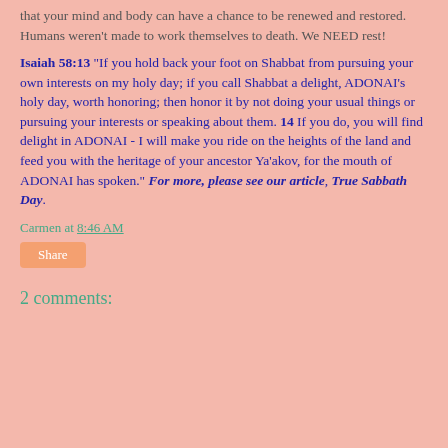that your mind and body can have a chance to be renewed and restored.  Humans weren't made to work themselves to death. We NEED rest!
Isaiah 58:13 "If you hold back your foot on Shabbat from pursuing your own interests on my holy day; if you call Shabbat a delight, ADONAI's holy day, worth honoring; then honor it by not doing your usual things or pursuing your interests or speaking about them. 14 If you do, you will find delight in ADONAI - I will make you ride on the heights of the land and feed you with the heritage of your ancestor Ya'akov, for the mouth of ADONAI has spoken." For more, please see our article, True Sabbath Day.
Carmen at 8:46 AM
Share
2 comments: